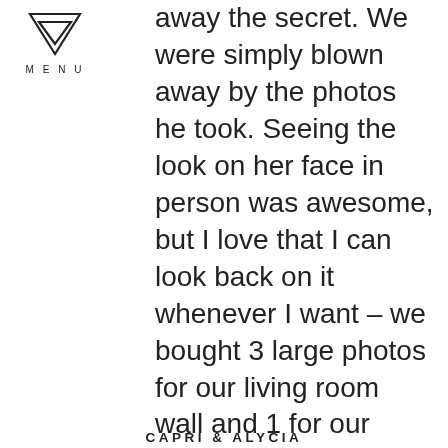[Figure (logo): Menu icon: downward pointing chevron/triangle outline with the word MENU in spaced capitals beneath]
away the secret. We were simply blown away by the photos he took. Seeing the look on her face in person was awesome, but I love that I can look back on it whenever I want – we bought 3 large photos for our living room wall and 1 for our bedroom too.
CAPRI & ALYCIA